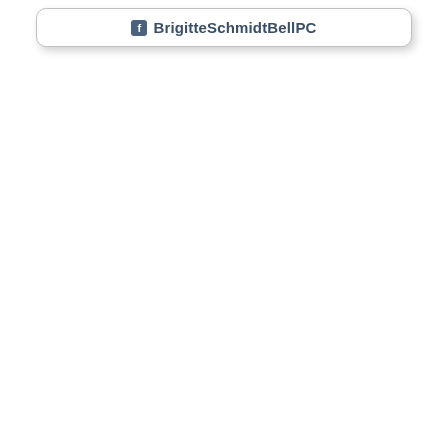[Figure (logo): Rounded rectangle card with Facebook icon and text 'BrigitteSchmidtBellPC' in dark blue-grey color]